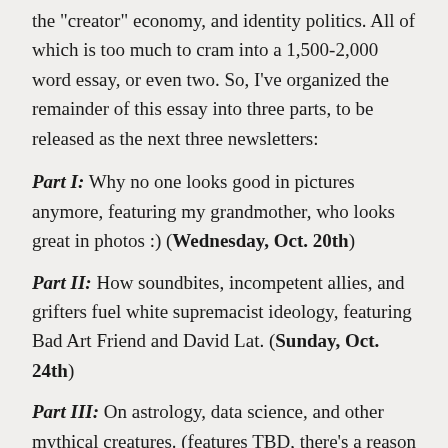the "creator" economy, and identity politics. All of which is too much to cram into a 1,500-2,000 word essay, or even two. So, I've organized the remainder of this essay into three parts, to be released as the next three newsletters:
Part I: Why no one looks good in pictures anymore, featuring my grandmother, who looks great in photos :) (Wednesday, Oct. 20th)
Part II: How soundbites, incompetent allies, and grifters fuel white supremacist ideology, featuring Bad Art Friend and David Lat. (Sunday, Oct. 24th)
Part III: On astrology, data science, and other mythical creatures. (features TBD, there's a reason why this one is last, lol). (Sunday, Nov. 1st)